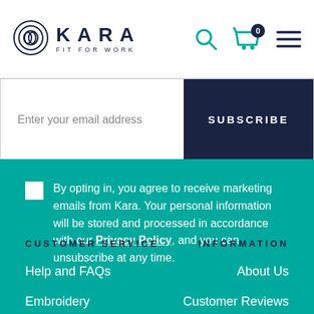[Figure (logo): Kara Fit For Work logo with circular spiral icon and brand name]
[Figure (infographic): Header navigation icons: search magnifier, cart with 0 badge, hamburger menu]
Enter your email address
SUBSCRIBE
By opting in, you agree to receive marketing emails from Kara. Your personal information will be stored and processed in accordance with our Privacy Policy, and you can unsubscribe at any time.
CUSTOMER SERVICE
INFORMATION
Help and FAQs
About Us
Embroidery
Customer Reviews
Delivery
Our Blog